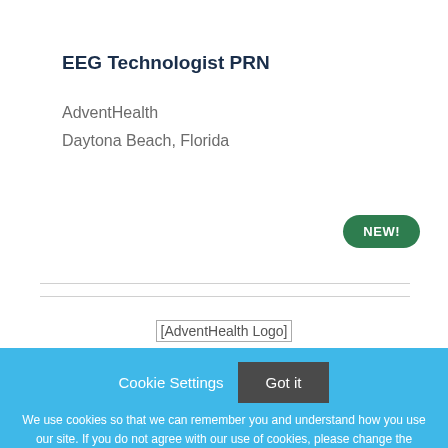EEG Technologist PRN
AdventHealth
Daytona Beach, Florida
[Figure (other): Green oval badge with text NEW!]
[Figure (logo): AdventHealth Logo placeholder image]
Cookie Settings  Got it
We use cookies so that we can remember you and understand how you use our site. If you do not agree with our use of cookies, please change the current settings found in our Cookie Policy. Otherwise, you agree to the use of the cookies as they are currently set.